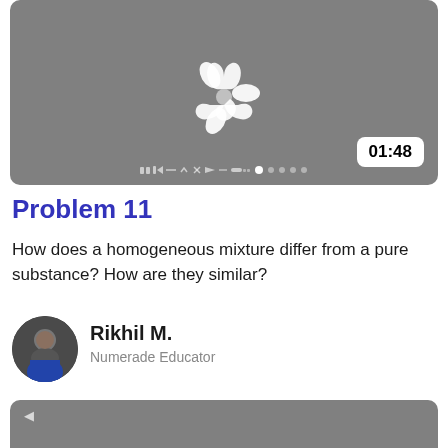[Figure (screenshot): Video thumbnail with gray background showing Numerade logo (three-pronged white shape) and timestamp 01:48 in lower right corner, with video control dots at bottom]
Problem 11
How does a homogeneous mixture differ from a pure substance? How are they similar?
[Figure (photo): Circular avatar photo of Rikhil M., a Numerade Educator, wearing a blue shirt]
Rikhil M.
Numerade Educator
[Figure (screenshot): Partial second video thumbnail with gray background, partially visible at bottom of page]